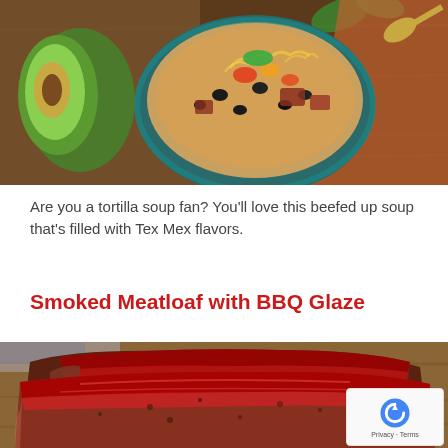[Figure (photo): Top-down view of a tortilla soup bowl with black beans, colorful peppers, shredded cheese, and avocado on a wooden board]
Are you a tortilla soup fan? You'll love this beefed up soup that's filled with Tex Mex flavors.
Smoked Meatloaf with BBQ Glaze
[Figure (photo): Close-up of sliced smoked meatloaf with a dark red BBQ glaze on a wooden cutting board]